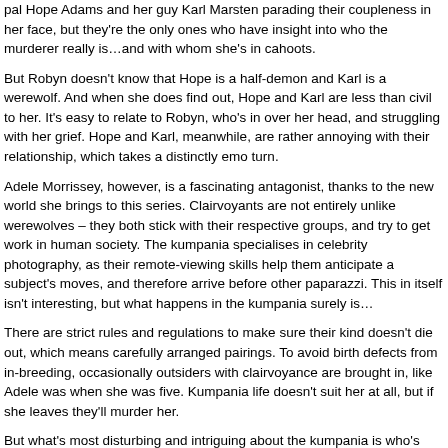pal Hope Adams and her guy Karl Marsten parading their coupleness in her face, but they're the only ones who have insight into who the murderer really is…and with whom she's in cahoots.
But Robyn doesn't know that Hope is a half-demon and Karl is a werewolf. And when she does find out, Hope and Karl are less than civil to her. It's easy to relate to Robyn, who's in over her head, and struggling with her grief. Hope and Karl, meanwhile, are rather annoying with their relationship, which takes a distinctly emo turn.
Adele Morrissey, however, is a fascinating antagonist, thanks to the new world she brings to this series. Clairvoyants are not entirely unlike werewolves – they both stick with their respective groups, and try to get work in human society. The kumpania specialises in celebrity photography, as their remote-viewing skills help them anticipate a subject's moves, and therefore arrive before other paparazzi. This in itself isn't interesting, but what happens in the kumpania surely is…
There are strict rules and regulations to make sure their kind doesn't die out, which means carefully arranged pairings. To avoid birth defects from in-breeding, occasionally outsiders with clairvoyance are brought in, like Adele was when she was five. Kumpania life doesn't suit her at all, but if she leaves they'll murder her.
But what's most disturbing and intriguing about the kumpania is who's living underground – and why. It truly makes you step back and look on in awe of the author's ideas. Wow.
Told in third person from six points of view, if you've missed reading the